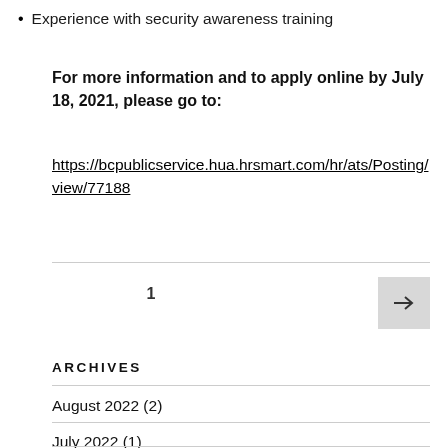Experience with security awareness training
For more information and to apply online by July 18, 2021, please go to:
https://bcpublicservice.hua.hrsmart.com/hr/ats/Posting/view/77188
1  →
ARCHIVES
August 2022 (2)
July 2022 (1)